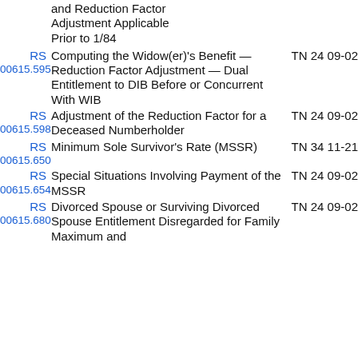and Reduction Factor Adjustment Applicable Prior to 1/84
RS 00615.595 Computing the Widow(er)'s Benefit — Reduction Factor Adjustment — Dual Entitlement to DIB Before or Concurrent With WIB TN 24 09-02
RS 00615.598 Adjustment of the Reduction Factor for a Deceased Numberholder TN 24 09-02
RS 00615.650 Minimum Sole Survivor's Rate (MSSR) TN 34 11-21
RS 00615.654 Special Situations Involving Payment of the MSSR TN 24 09-02
RS 00615.680 Divorced Spouse or Surviving Divorced Spouse Entitlement Disregarded for Family Maximum and TN 24 09-02